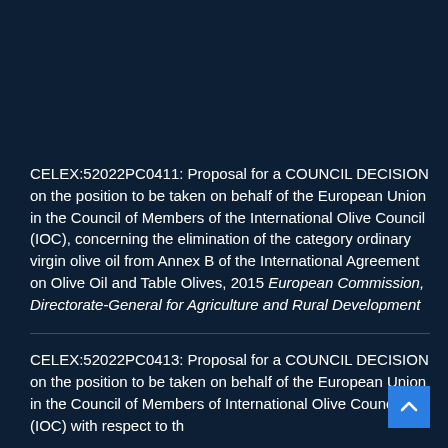CELEX:52022PC0411: Proposal for a COUNCIL DECISION on the position to be taken on behalf of the European Union in the Council of Members of the International Olive Council (IOC), concerning the elimination of the category ordinary virgin olive oil from Annex B of the International Agreement on Olive Oil and Table Olives, 2015 European Commission, Directorate-General for Agriculture and Rural Development
CELEX:52022PC0413: Proposal for a COUNCIL DECISION on the position to be taken on behalf of the European Union in the Council of Members of International Olive Council (IOC) with respect to th...